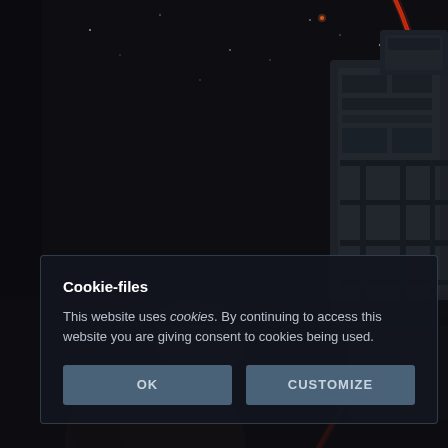[Figure (illustration): Sci-fi game screenshot showing spaceships and asteroids in a dark space environment with a red curved energy beam or arc. Dark background with stars. Industrial/military spacecraft structures visible on the right side with glowing orange lights.]
Cookie-files
This website uses cookies. By continuing to access this website you are giving consent to cookies being used.
OK
CUSTOMIZE